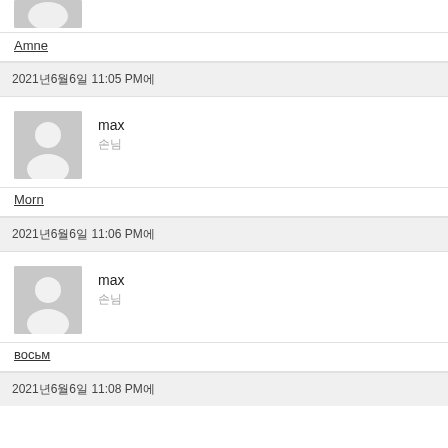[Figure (illustration): Partial avatar silhouette at top of page (cropped)]
Amne
2021년6월6일 11:05 PM에
[Figure (illustration): User avatar silhouette for max]
max
손님
Morn
2021년6월6일 11:06 PM에
[Figure (illustration): User avatar silhouette for max]
max
손님
восьм
2021년6월6일 11:08 PM에